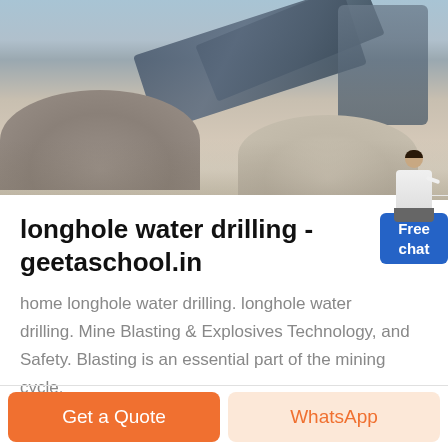[Figure (photo): Mining/quarry site with conveyor belts, machinery, and gravel/sand piles in an outdoor setting]
longhole water drilling - geetaschool.in
home longhole water drilling. longhole water drilling. Mine Blasting & Explosives Technology, and Safety. Blasting is an essential part of the mining cycle.
Read More ↗
Get a Quote
WhatsApp